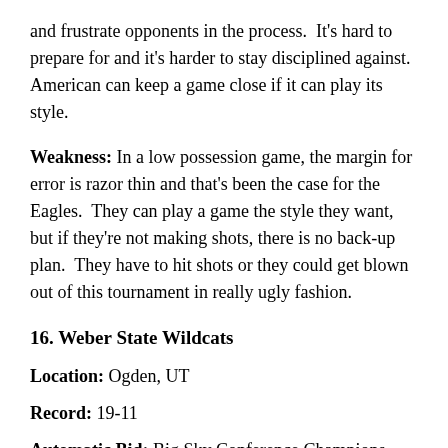and frustrate opponents in the process. It's hard to prepare for and it's harder to stay disciplined against. American can keep a game close if it can play its style.
Weakness: In a low possession game, the margin for error is razor thin and that's been the case for the Eagles. They can play a game the style they want, but if they're not making shots, there is no back-up plan. They have to hit shots or they could get blown out of this tournament in really ugly fashion.
16. Weber State Wildcats
Location: Ogden, UT
Record: 19-11
Automatic Bid: Big Sky Conference Champions